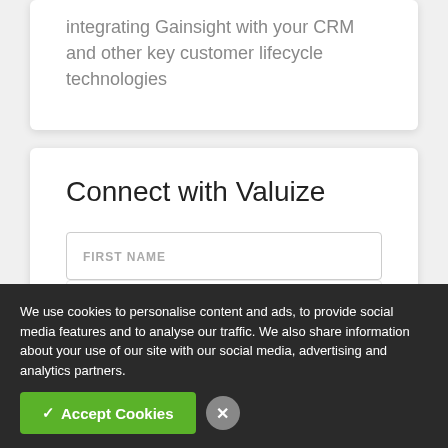integrating Gainsight with your CRM and other key customer lifecycle technologies
Connect with Valuize
FIRST NAME
LAST NAME
EMAIL ADDRESS
COMPANY NAME
We use cookies to personalise content and ads, to provide social media features and to analyse our traffic. We also share information about your use of our site with our social media, advertising and analytics partners.
✓ Accept Cookies